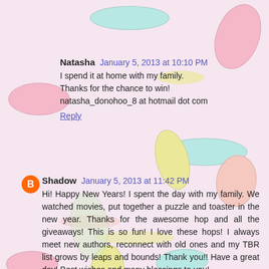Natasha  January 5, 2013 at 10:10 PM
I spend it at home with my family.
Thanks for the chance to win!
natasha_donohoo_8 at hotmail dot com
Reply
Shadow  January 5, 2013 at 11:42 PM
Hi! Happy New Years! I spent the day with my family. We watched movies, put together a puzzle and toaster in the new year. Thanks for the awesome hop and all the giveaways! This is so fun! I love these hops! I always meet new authors, reconnect with old ones and my TBR list grows by leaps and bounds! Thank you!! Have a great day! Best wishes and many blessings to you!
shadowluvs2read(at)gmail(dot)com
Reply